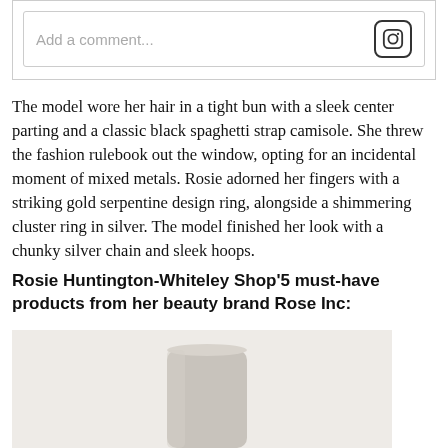[Figure (screenshot): Instagram comment input box with placeholder text 'Add a comment...' and Instagram icon on the right]
The model wore her hair in a tight bun with a sleek center parting and a classic black spaghetti strap camisole. She threw the fashion rulebook out the window, opting for an incidental moment of mixed metals. Rosie adorned her fingers with a striking gold serpentine design ring, alongside a shimmering cluster ring in silver. The model finished her look with a chunky silver chain and sleek hoops.
Rosie Huntington-Whiteley Shop'5 must-have products from her beauty brand Rose Inc:
[Figure (photo): Product photo of a cylindrical beauty product bottle against a light beige/grey background, partially cropped at bottom]